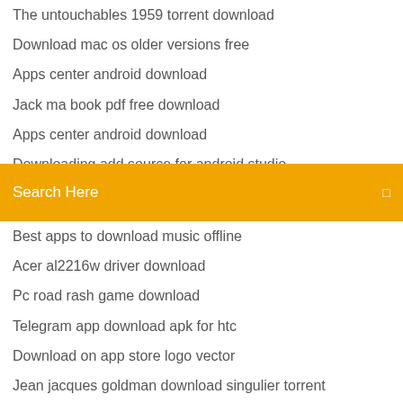The untouchables 1959 torrent download
Download mac os older versions free
Apps center android download
Jack ma book pdf free download
Apps center android download
Downloading add source for android studio
Swanson blue book stairs pdf download
[Figure (screenshot): Orange search bar with text 'Search Here' and a small icon on the right]
Best apps to download music offline
Acer al2216w driver download
Pc road rash game download
Telegram app download apk for htc
Download on app store logo vector
Jean jacques goldman download singulier torrent
Adobe pdf reader google app free download
Nova 3 full free download pc free
Mp3 music downloader for vip apk
Cost for windows 10 download